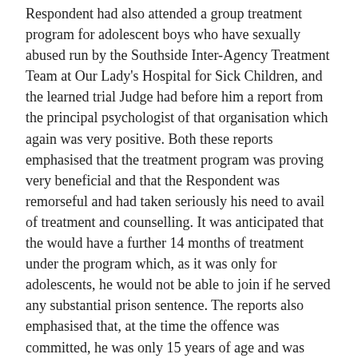Respondent had also attended a group treatment program for adolescent boys who have sexually abused run by the Southside Inter-Agency Treatment Team at Our Lady's Hospital for Sick Children, and the learned trial Judge had before him a report from the principal psychologist of that organisation which again was very positive. Both these reports emphasised that the treatment program was proving very beneficial and that the Respondent was remorseful and had taken seriously his need to avail of treatment and counselling. It was anticipated that the would have a further 14 months of treatment under the program which, as it was only for adolescents, he would not be able to join if he served any substantial prison sentence. The reports also emphasised that, at the time the offence was committed, he was only 15 years of age and was understandably in a state of confusion over his sexuality. The evidence was that, since the offence was committed, the Respondent had accepted his homosexuality and had entered into a homosexual relationship, and importantly that his parents had accepted the situation and were supportive of him.
In the view of this Court the learned trial Judge was correct in